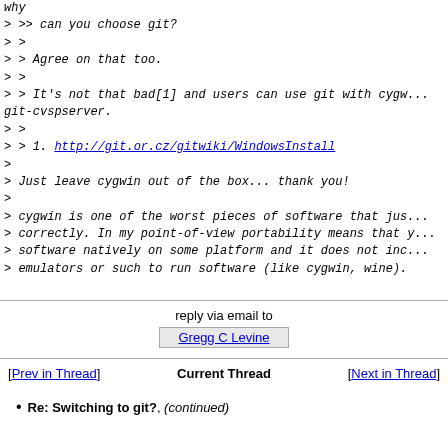why
> >> can you choose git?
> >
> > Agree on that too.
> >
> > It's not that bad[1] and users can use git with cygw... git-cvspserver.
> >
> > 1. http://git.or.cz/gitwiki/WindowsInstall
>
> Just leave cygwin out of the box... thank you!
>
> cygwin is one of the worst pieces of software that jus... correctly. In my point-of-view portability means that y... software natively on some platform and it does not inc... emulators or such to run software (like cygwin, wine).
reply via email to
Gregg C Levine
[Prev in Thread]  Current Thread  [Next in Thread]
Re: Switching to git?, (continued)